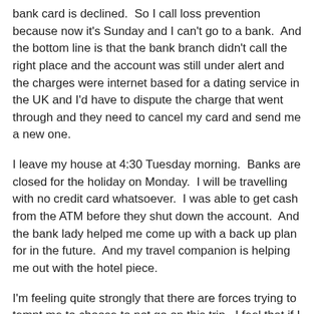bank card is declined.  So I call loss prevention because now it's Sunday and I can't go to a bank.  And the bottom line is that the bank branch didn't call the right place and the account was still under alert and the charges were internet based for a dating service in the UK and I'd have to dispute the charge that went through and they need to cancel my card and send me a new one.
I leave my house at 4:30 Tuesday morning.  Banks are closed for the holiday on Monday.  I will be travelling with no credit card whatsoever.  I was able to get cash from the ATM before they shut down the account.  And the bank lady helped me come up with a back up plan for in the future.  And my travel companion is helping me out with the hotel piece.
I'm feeling quite strongly that there are forces trying to tempt me to choose to not go on this trip.  I feel that if I had given up on our family mission project because my card was declined or because we couldn't find people or because we were driving in circles... it would have been the start of a shut down.  I feel like fighting through this credit card issue and